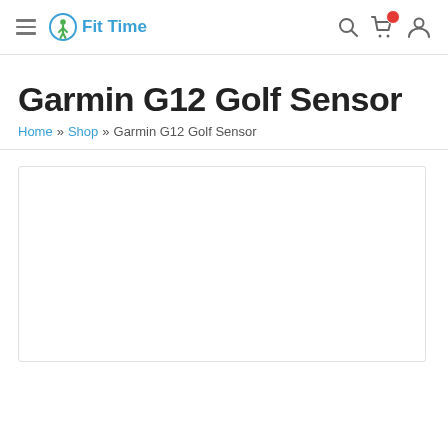Fit Time — navigation header with hamburger menu, logo, search, cart, and user icons
Garmin G12 Golf Sensor
Home » Shop » Garmin G12 Golf Sensor
[Figure (other): Empty product image placeholder box with a thin border]